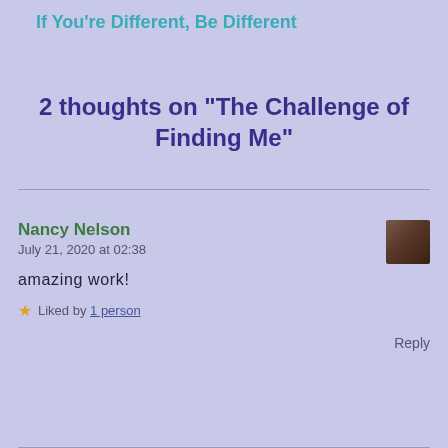If You're Different, Be Different
2 thoughts on “The Challenge of Finding Me”
Nancy Nelson
July 21, 2020 at 02:38
amazing work!
Liked by 1 person
Reply